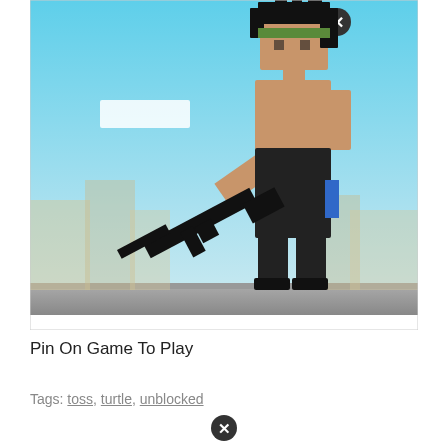[Figure (screenshot): Pixel-art style video game screenshot showing two blocky characters fighting. One upright character holds a rifle and wears dark pants with a blue stripe; the other is knocked down wearing black. Light blue sky background with blurred city buildings. A small white text box is visible on the left, and an X close button appears in the top area.]
Pin On Game To Play
Tags: toss, turtle, unblocked